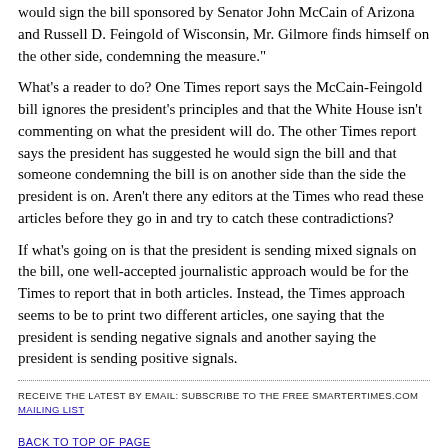would sign the bill sponsored by Senator John McCain of Arizona and Russell D. Feingold of Wisconsin, Mr. Gilmore finds himself on the other side, condemning the measure."
What's a reader to do? One Times report says the McCain-Feingold bill ignores the president's principles and that the White House isn't commenting on what the president will do. The other Times report says the president has suggested he would sign the bill and that someone condemning the bill is on another side than the side the president is on. Aren't there any editors at the Times who read these articles before they go in and try to catch these contradictions?
If what's going on is that the president is sending mixed signals on the bill, one well-accepted journalistic approach would be for the Times to report that in both articles. Instead, the Times approach seems to be to print two different articles, one saying that the president is sending negative signals and another saying the president is sending positive signals.
RECEIVE THE LATEST BY EMAIL: SUBSCRIBE TO THE FREE SMARTERTIMES.COM MAILING LIST
BACK TO TOP OF PAGE